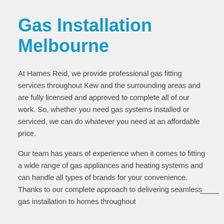Gas Installation Melbourne
At Hames Reid, we provide professional gas fitting services throughout Kew and the surrounding areas and are fully licensed and approved to complete all of our work. So, whether you need gas systems installed or serviced, we can do whatever you need at an affordable price.
Our team has years of experience when it comes to fitting a wide range of gas appliances and heating systems and can handle all types of brands for your convenience. Thanks to our complete approach to delivering seamless gas installation to homes throughout